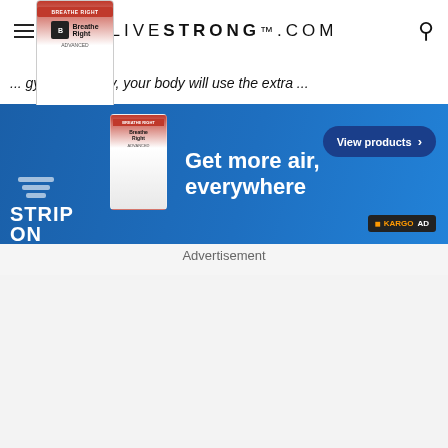LIVESTRONG.COM
... gym. That way, your body will use the extra ... ... in the ...
[Figure (screenshot): Breathe Right nasal strip product advertisement banner. Blue background with 'STRIP ON' text on left, 'Get more air, everywhere' in center, 'View products' button on right, Kargo Ad badge at bottom right.]
Advertisement